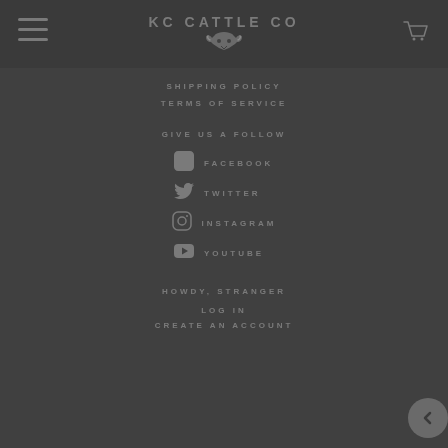KC CATTLE CO
SHIPPING POLICY
TERMS OF SERVICE
GIVE US A FOLLOW
FACEBOOK
TWITTER
INSTAGRAM
YOUTUBE
HOWDY, STRANGER
LOG IN
CREATE AN ACCOUNT